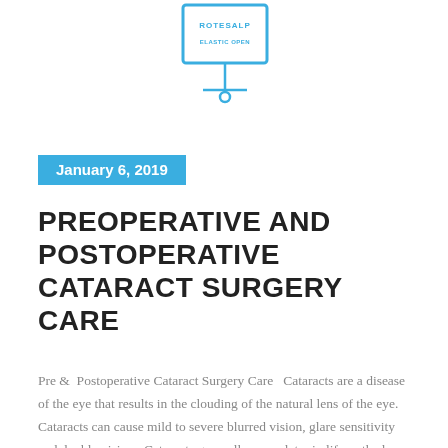[Figure (logo): Blue outlined presentation board/easel icon with text ROTESALP and ELASTIC OPEN in blue pixel-style font]
January 6, 2019
PREOPERATIVE AND POSTOPERATIVE CATARACT SURGERY CARE
Pre &  Postoperative Cataract Surgery Care   Cataracts are a disease of the eye that results in the clouding of the natural lens of the eye. Cataracts can cause mild to severe blurred vision, glare sensitivity and double vision.  Cataracts generally occur later in life as the lens structure within the human eye